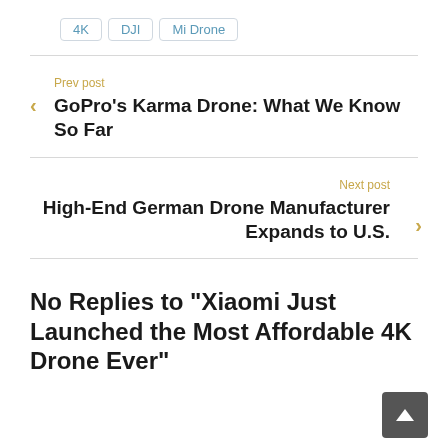4K
DJI
Mi Drone
Prev post
GoPro's Karma Drone: What We Know So Far
Next post
High-End German Drone Manufacturer Expands to U.S.
No Replies to "Xiaomi Just Launched the Most Affordable 4K Drone Ever"